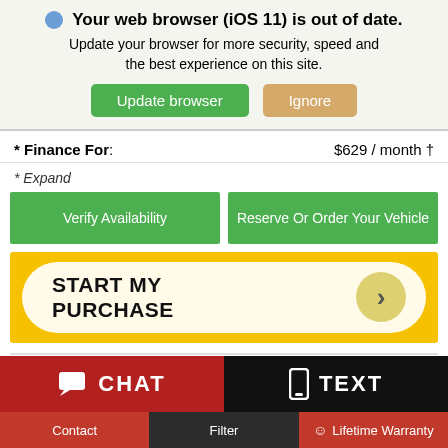🌐 Your web browser (iOS 11) is out of date. Update your browser for more security, speed and the best experience on this site.
Update browser | Ignore
* Finance For: $629 / month †
* Expand
Verify Availability
Reserve Or Order Your Vehicle
[Figure (infographic): START MY PURCHASE button banner in yellow/gold with arrow circle]
[Figure (logo): Jeep Wave Customer Care logo with hand icon]
CHAT
TEXT
Contact
Filter
Lifetime Warranty